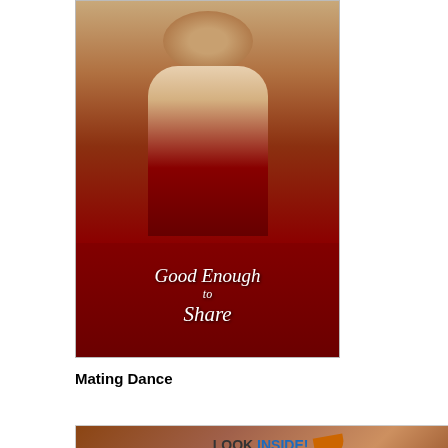[Figure (illustration): Book cover for 'Good Enough to Share' showing a shirtless man with dark hair on a red background with cursive title text]
Mating Dance
[Figure (illustration): Book cover for 'A Mating Dance' by Lia Davis with 'LOOK INSIDE!' banner, showing figures and a black cat]
book 2 Lia Davis
Suzanne Wright
Amaranta is killers and k She loves h distance. H want kids so start. After a she has bee demon conn assassin's r
This was a menage wit between the him was ha I will say I w more from t
Posted by ju
12/27/12
Review Ryan